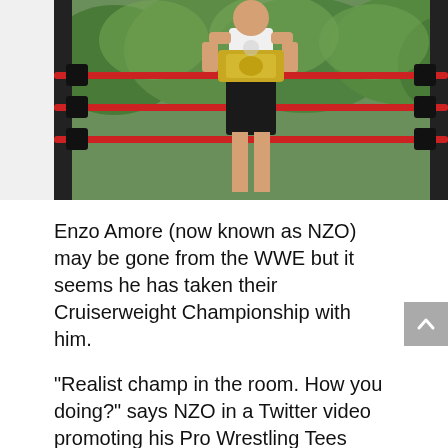[Figure (photo): A wrestler standing in a wrestling ring with red ropes, wearing a white tank top and black shorts. Green trees visible in the background outdoors.]
Enzo Amore (now known as NZO) may be gone from the WWE but it seems he has taken their Cruiserweight Championship with him.
“Realist champ in the room. How you doing?” says NZO in a Twitter video promoting his Pro Wrestling Tees store and his Real1MixtapeTour2020.